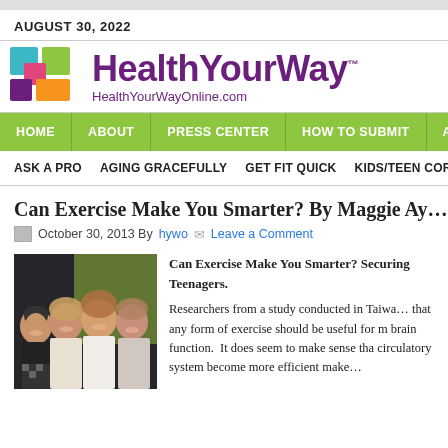AUGUST 30, 2022
[Figure (logo): HealthYourWay logo with colorful puzzle-piece icon and text 'HealthYourWay HealthYourWayOnline.com']
HOME | ABOUT | PRESS CENTER | HOW TO SUBMIT | ADVERTISE
ASK A PRO | AGING GRACEFULLY | GET FIT QUICK | KIDS/TEEN CORNER
Can Exercise Make You Smarter? By Maggie Ay...
October 30, 2013 By hywo Leave a Comment
[Figure (photo): Four young women smiling together indoors]
Can Exercise Make You Smarter? Securing Brain Health in Teenagers.

Researchers from a study conducted in Taiwan found that any form of exercise should be useful for maintaining brain function. It does seem to make sense that keeping the circulatory system become more efficient make...